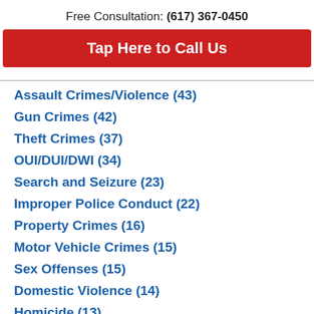Free Consultation: (617) 367-0450
Tap Here to Call Us
Assault Crimes/Violence (43)
Gun Crimes (42)
Theft Crimes (37)
OUI/DUI/DWI (34)
Search and Seizure (23)
Improper Police Conduct (22)
Property Crimes (16)
Motor Vehicle Crimes (15)
Sex Offenses (15)
Domestic Violence (14)
Homicide (13)